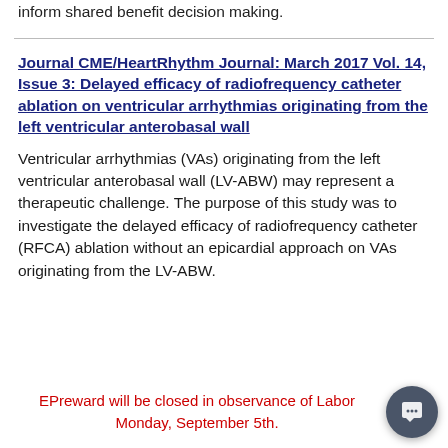inform shared benefit decision making.
Journal CME/HeartRhythm Journal: March 2017 Vol. 14, Issue 3: Delayed efficacy of radiofrequency catheter ablation on ventricular arrhythmias originating from the left ventricular anterobasal wall
Ventricular arrhythmias (VAs) originating from the left ventricular anterobasal wall (LV-ABW) may represent a therapeutic challenge. The purpose of this study was to investigate the delayed efficacy of radiofrequency catheter (RFCA) ablation without an epicardial approach on VAs originating from the LV-ABW.
EPreward will be closed in observance of Labor Monday, September 5th.